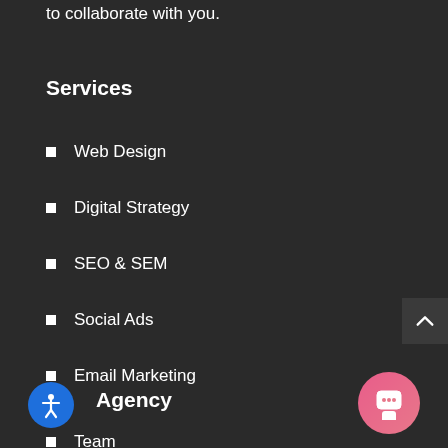to collaborate with you.
Services
Web Design
Digital Strategy
SEO & SEM
Social Ads
Email Marketing
Reputation Management
Agency
Team